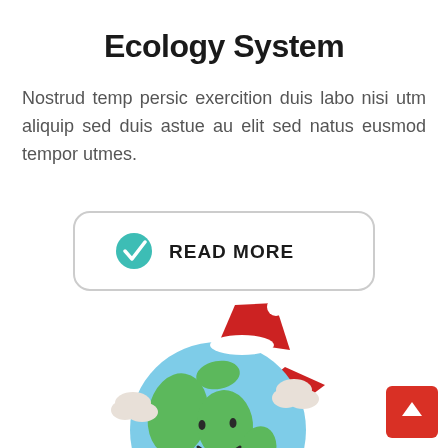Ecology System
Nostrud temp persic exercition duis labo nisi utm aliquip sed duis astue au elit sed natus eusmod tempor utmes.
[Figure (illustration): A rounded rectangle button with border containing a teal checkmark icon and bold text READ MORE]
[Figure (illustration): Cartoon smiling Earth globe wearing a red Santa hat with cloud shapes around it, light blue ocean areas and green land masses]